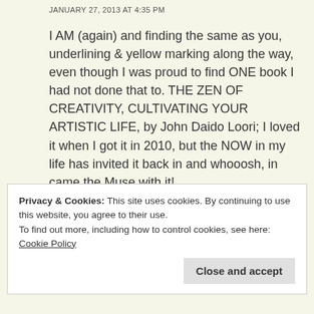JANUARY 27, 2013 AT 4:35 PM
I AM (again) and finding the same as you, underlining & yellow marking along the way, even though I was proud to find ONE book I had not done that to. THE ZEN OF CREATIVITY, CULTIVATING YOUR ARTISTIC LIFE, by John Daido Loori; I loved it when I got it in 2010, but the NOW in my life has invited it back in and whooosh, in came the Muse with it!
Privacy & Cookies: This site uses cookies. By continuing to use this website, you agree to their use. To find out more, including how to control cookies, see here: Cookie Policy
Close and accept